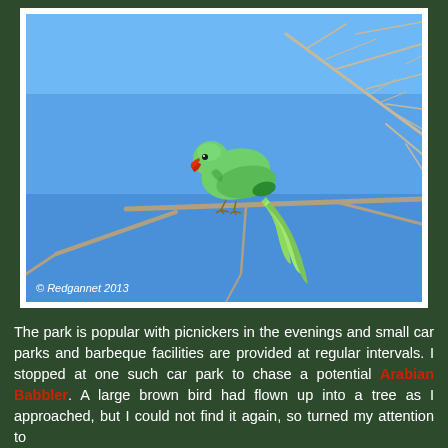[Figure (photo): A green Rose-ringed Parakeet perched on bare tree branches against a bright blue sky. The bird has bright green plumage, a red beak, and a long yellow-green tail. Copyright watermark reads '© Redgannet 2013' in the lower-left corner.]
The park is popular with picnickers in the evenings and small car parks and barbeque facilities are provided at regular intervals. I stopped at one such car park to chase a potential Arabian Babbler. A large brown bird had flown up into a tree as I approached, but I could not find it again, so turned my attention to